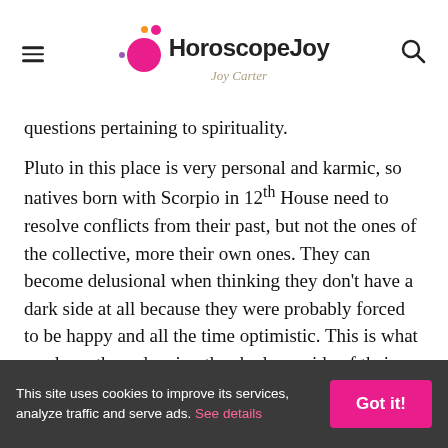HoroscopeJoy
questions pertaining to spirituality.
Pluto in this place is very personal and karmic, so natives born with Scorpio in 12th House need to resolve conflicts from their past, but not the ones of the collective, more their own ones. They can become delusional when thinking they don't have a dark side at all because they were probably forced to be happy and all the time optimistic. This is what can have them denying the shadowy side of their psyche.
This site uses cookies to improve its services, analyze traffic and serve ads. See details  Got it!